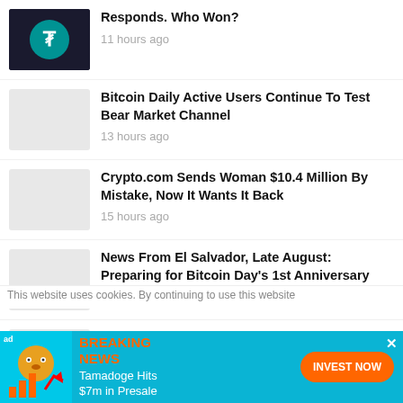Responds. Who Won?
11 hours ago
Bitcoin Daily Active Users Continue To Test Bear Market Channel
13 hours ago
Crypto.com Sends Woman $10.4 Million By Mistake, Now It Wants It Back
15 hours ago
News From El Salvador, Late August: Preparing for Bitcoin Day's 1st Anniversary
1 day ago
Will The 140,000 BTC From Mt Gox Flood The Market Soon?
This website uses cookies. By continuing to use this website
[Figure (infographic): Ad banner: Tamadoge Hits $7m in Presale — BREAKING NEWS — INVEST NOW button]